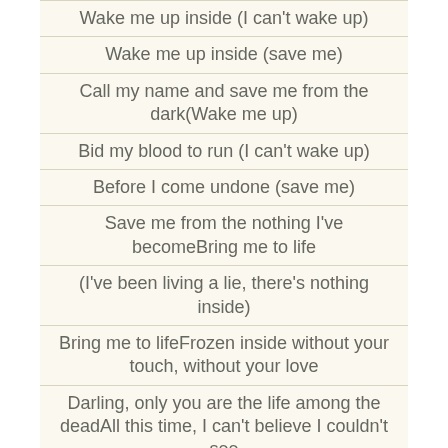Wake me up inside (I can't wake up)
Wake me up inside (save me)
Call my name and save me from the dark(Wake me up)
Bid my blood to run (I can't wake up)
Before I come undone (save me)
Save me from the nothing I've becomeBring me to life
(I've been living a lie, there's nothing inside)
Bring me to lifeFrozen inside without your touch, without your love
Darling, only you are the life among the deadAll this time, I can't believe I couldn't see
Kept in the dark, but you were there in front of me